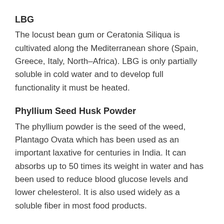LBG
The locust bean gum or Ceratonia Siliqua is cultivated along the Mediterranean shore (Spain, Greece, Italy, North–Africa). LBG is only partially soluble in cold water and to develop full functionality it must be heated.
Phyllium Seed Husk Powder
The phyllium powder is the seed of the weed, Plantago Ovata which has been used as an important laxative for centuries in India. It can absorbs up to 50 times its weight in water and has been used to reduce blood glucose levels and lower chelesterol. It is also used widely as a soluble fiber in most food products.